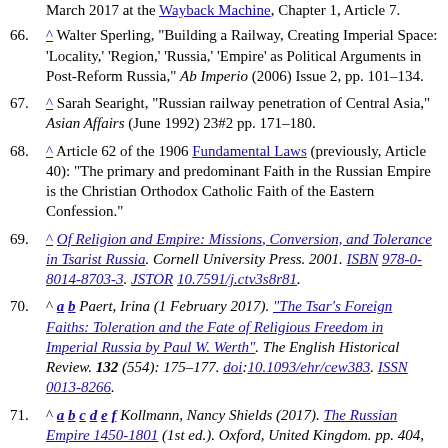(partial) March 2017 at the Wayback Machine, Chapter 1, Article 7.
66. ^ Walter Sperling, "Building a Railway, Creating Imperial Space: 'Locality,' 'Region,' 'Russia,' 'Empire' as Political Arguments in Post-Reform Russia," Ab Imperio (2006) Issue 2, pp. 101–134.
67. ^ Sarah Searight, "Russian railway penetration of Central Asia," Asian Affairs (June 1992) 23#2 pp. 171–180.
68. ^ Article 62 of the 1906 Fundamental Laws (previously, Article 40): "The primary and predominant Faith in the Russian Empire is the Christian Orthodox Catholic Faith of the Eastern Confession."
69. ^ Of Religion and Empire: Missions, Conversion, and Tolerance in Tsarist Russia. Cornell University Press. 2001. ISBN 978-0-8014-8703-3. JSTOR 10.7591/j.ctv3s8r81.
70. ^ a b Paert, Irina (1 February 2017). "The Tsar's Foreign Faiths: Toleration and the Fate of Religious Freedom in Imperial Russia by Paul W. Werth". The English Historical Review. 132 (554): 175–177. doi:10.1093/ehr/cew383. ISSN 0013-8266.
71. ^ a b c d e f Kollmann, Nancy Shields (2017). The Russian Empire 1450-1801 (1st ed.). Oxford, United Kingdom. pp. 404, 407–408. ISBN 978-0-19-928051-3. OCLC 969962873.
72. ^ a b Davies, Franziska; Wessel, Martin Schulze; Brenner,